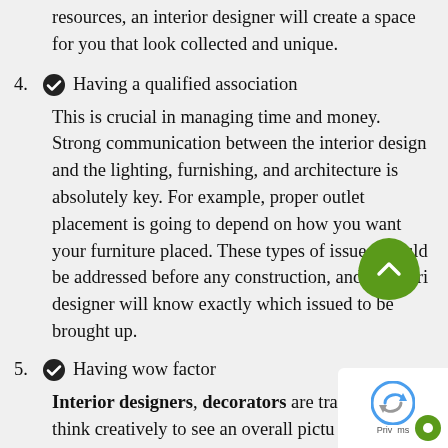resources, an interior designer will create a space for you that look collected and unique.
4. ✔ Having a qualified association
This is crucial in managing time and money. Strong communication between the interior design and the lighting, furnishing, and architecture is absolutely key. For example, proper outlet placement is going to depend on how you want your furniture placed. These types of issues should be addressed before any construction, and an interior designer will know exactly which issues need to be brought up.
5. ✔ Having wow factor
Interior designers, decorators are trained to think creatively to see an overall picture